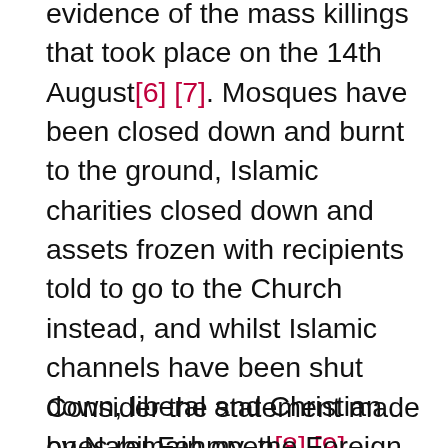evidence of the mass killings that took place on the 14th August[6] [7]. Mosques have been closed down and burnt to the ground, Islamic charities closed down and assets frozen with recipients told to go to the Church instead, and whilst Islamic channels have been shut down, liberal and Christian ones remain open[8] [9] [10].It appears that this is more than just a tribulation (Fitna), to which the opinion of pessimists (and some scholars) is to stay at home and abstain from taking sides in but indeed this has the hallmarks of being a battle between truth and falsehood.
Consider the statement made by Nabil Fahmy, the Foreign Minister, where he said: “The problem with Morsi was not about him being a good or bad president in terms of efficiency. If that was the case we would have waited the three or four years. The problem was